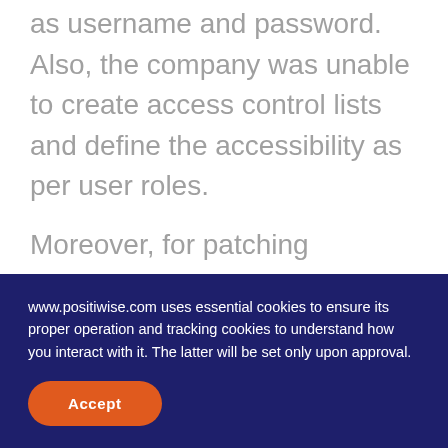as username and password. Also, the company was unable to create access control lists and define the accessibility as per user roles.
Moreover, for patching loopholes and upgrading the drivers, our client has to wait for vendor updates, increasing the cyber-attack probability.
Our project team has taken it as a high
www.positiwise.com uses essential cookies to ensure its proper operation and tracking cookies to understand how you interact with it. The latter will be set only upon approval.
Accept